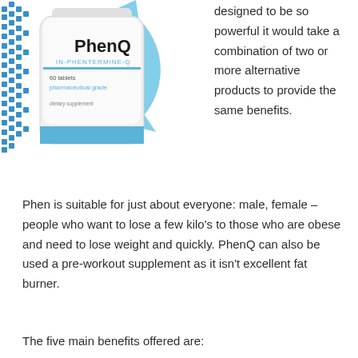[Figure (photo): PhenQ supplement bottle (white, cylindrical) with blue square pixel pattern on the left side, labeled 'PhenQ IN-PHENTERMINE-Q', '60 tablets pharmaceutical grade dietary supplement'. A large light blue circular arrow graphic appears behind/beside the bottle.]
designed to be so powerful it would take a combination of two or more alternative products to provide the same benefits.
Phen is suitable for just about everyone: male, female – people who want to lose a few kilo's to those who are obese and need to lose weight and quickly. PhenQ can also be used a pre-workout supplement as it isn't excellent fat burner.
The five main benefits offered are: